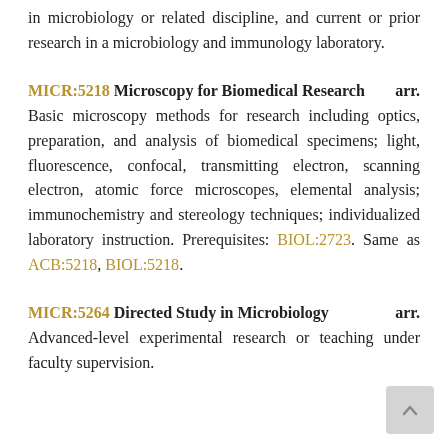in microbiology or related discipline, and current or prior research in a microbiology and immunology laboratory.
MICR:5218 Microscopy for Biomedical Research arr. Basic microscopy methods for research including optics, preparation, and analysis of biomedical specimens; light, fluorescence, confocal, transmitting electron, scanning electron, atomic force microscopes, elemental analysis; immunochemistry and stereology techniques; individualized laboratory instruction. Prerequisites: BIOL:2723. Same as ACB:5218, BIOL:5218.
MICR:5264 Directed Study in Microbiology arr. Advanced-level experimental research or teaching under faculty supervision.